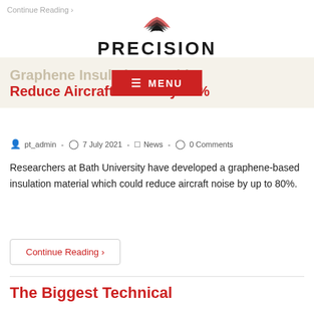Continue Reading >
[Figure (logo): Precision Technologies logo with stylized swoosh icon above the word PRECISION in bold dark letters and TECHNOLOGIES in red small caps below]
[Figure (screenshot): Red MENU button overlay with hamburger icon]
Graphene Insulation Could Reduce Aircraft Noise By 80%
pt_admin  -  7 July 2021  -  News  -  0 Comments
Researchers at Bath University have developed a graphene-based insulation material which could reduce aircraft noise by up to 80%.
Continue Reading >
The Biggest Technical